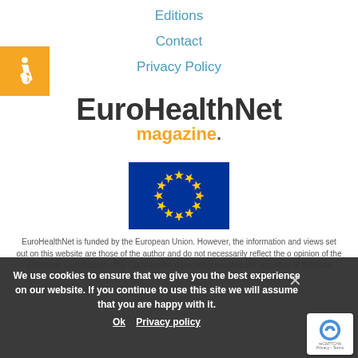Editions
Contact
Privacy Policy
[Figure (logo): EuroHealthNet magazine logo with orange 'magazine.' text]
[Figure (illustration): European Union flag — blue background with circle of 12 gold stars]
EuroHealthNet is funded by the European Union. However, the information and views set out on this website are those of the author and do not necessarily reflect the opinion of the European Commission. The Commission does not guarantee the accuracy of the data included on this website. Neither the Commission nor any person acting on
We use cookies to ensure that we give you the best experience on our website. If you continue to use this site we will assume that you are happy with it.
Ok   Privacy policy